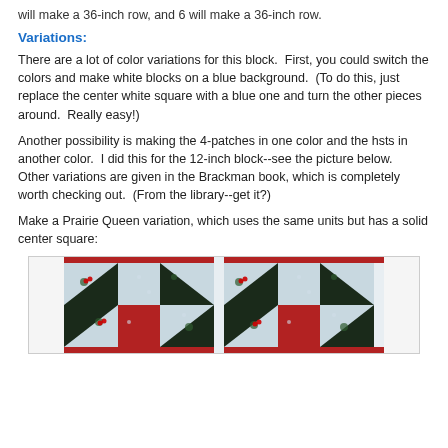will make a 36-inch row, and 6 will make a 36-inch row.
Variations:
There are a lot of color variations for this block.  First, you could switch the colors and make white blocks on a blue background.  (To do this, just replace the center white square with a blue one and turn the other pieces around.  Really easy!)
Another possibility is making the 4-patches in one color and the hsts in another color.  I did this for the 12-inch block--see the picture below.  Other variations are given in the Brackman book, which is completely worth checking out.  (From the library--get it?)
Make a Prairie Queen variation, which uses the same units but has a solid center square:
[Figure (photo): Photo of a quilt block showing a Prairie Queen variation with dark fabric featuring floral/cherry pattern, red squares, and light blue/white background fabric arranged in a geometric pattern.]